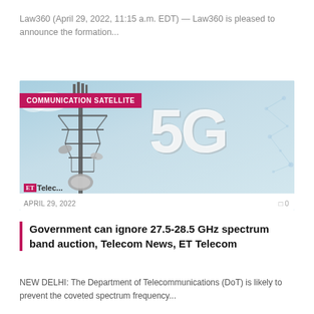Law360 (April 29, 2022, 11:15 a.m. EDT) — Law360 is pleased to announce the formation...
[Figure (photo): A telecommunications tower with satellite dishes and antennas against a light blue sky, with a large '5G' text overlay in white and a 'COMMUNICATION SATELLITE' badge in magenta. ET Telecom logo visible at bottom left. Date shown: APRIL 29, 2022.]
Government can ignore 27.5-28.5 GHz spectrum band auction, Telecom News, ET Telecom
NEW DELHI: The Department of Telecommunications (DoT) is likely to prevent the coveted spectrum frequency...